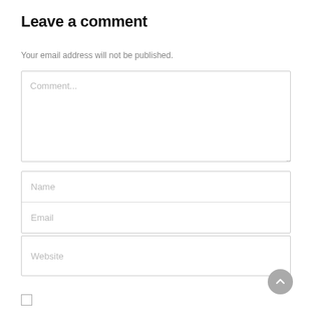Leave a comment
Your email address will not be published.
[Figure (screenshot): Comment text area input box with placeholder text 'Comment...' and resize handle]
[Figure (screenshot): Name and Email input fields stacked vertically in a bordered box]
[Figure (screenshot): Website input field in a bordered box]
[Figure (screenshot): Scroll-to-top circular button with upward chevron arrow]
[Figure (screenshot): Unchecked checkbox]